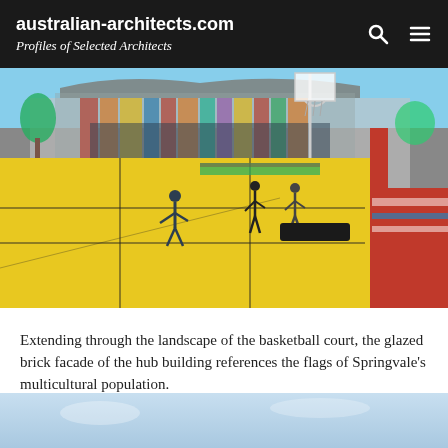australian-architects.com
Profiles of Selected Architects
[Figure (photo): Colorful outdoor basketball court with yellow surface and red trim in foreground, glazed brick facade building with multicolored vertical panels in background, people playing on court, blue sky above.]
Extending through the landscape of the basketball court, the glazed brick facade of the hub building references the flags of Springvale’s multicultural population.
Photo © John Gollings
[Figure (photo): Partial view of another photo at the bottom of the page showing a light blue sky.]